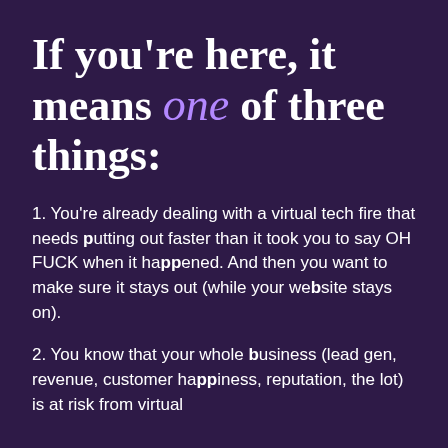If you're here, it means one of three things:
1. You're already dealing with a virtual tech fire that needs putting out faster than it took you to say OH FUCK when it happened. And then you want to make sure it stays out (while your website stays on).
2. You know that your whole business (lead gen, revenue, customer happiness, reputation, the lot) is at risk from virtual